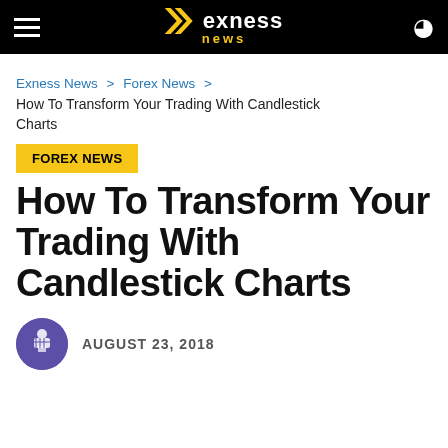Exness News
Exness News > Forex News >
How To Transform Your Trading With Candlestick Charts
FOREX NEWS
How To Transform Your Trading With Candlestick Charts
AUGUST 23, 2018